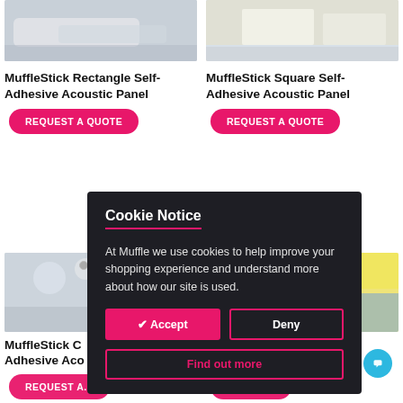[Figure (photo): Product image of MuffleStick Rectangle Self-Adhesive Acoustic Panel - gray sofa interior]
[Figure (photo): Product image of MuffleStick Square Self-Adhesive Acoustic Panel - white table/chair office interior]
MuffleStick Rectangle Self-Adhesive Acoustic Panel
MuffleStick Square Self-Adhesive Acoustic Panel
REQUEST A QUOTE
REQUEST A QUOTE
[Figure (screenshot): Cookie Notice modal overlay on dark background with Accept, Deny, and Find out more buttons]
Cookie Notice
At Muffle we use cookies to help improve your shopping experience and understand more about how our site is used.
✔ Accept
Deny
Find out more
[Figure (photo): Partial product image bottom left - acoustic panel product]
[Figure (photo): Partial product image bottom right - yellow ceiling baffle/acoustic panel in restaurant setting]
MuffleStick C... Adhesive Aco...
...e Fabric Adhesive Ac... affle